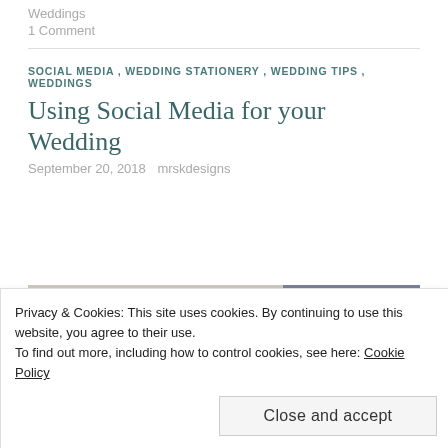Weddings
1 Comment
SOCIAL MEDIA , WEDDING STATIONERY , WEDDING TIPS , WEDDINGS
Using Social Media for your Wedding
September 20, 2018   mrskdesigns
[Figure (photo): Wedding stationery photo collage showing two images side by side]
Privacy & Cookies: This site uses cookies. By continuing to use this website, you agree to their use.
To find out more, including how to control cookies, see here: Cookie Policy
Close and accept